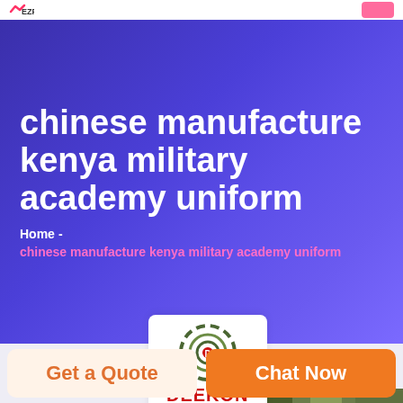chinese manufacture kenya military academy uniform
Home  -  chinese manufacture kenya military academy uniform
[Figure (logo): DEEKON brand logo with circular target/crosshair design in olive/dark green colors, with red DEEKON text below]
[Figure (photo): Partial view of military camouflage uniform/product image]
Get a Quote
Chat Now